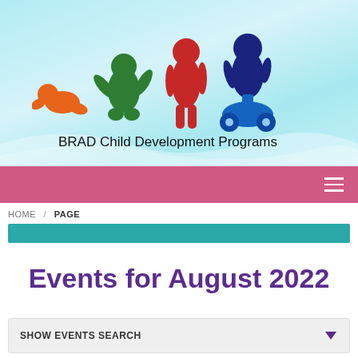[Figure (logo): BRAD Child Development Programs logo with four child silhouettes in orange, green, red, and blue on a light blue wave background, with text 'BRAD Child Development Programs' below]
HOME / PAGE
Events for August 2022
SHOW EVENTS SEARCH